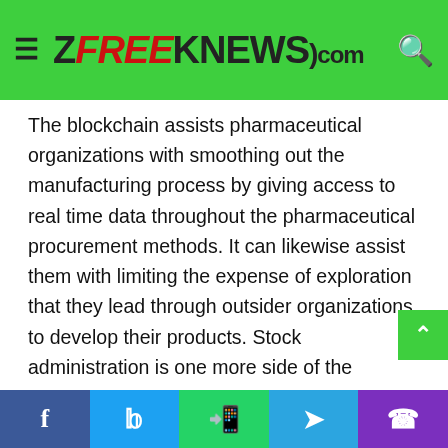ZEEKNEWS.com
The blockchain assists pharmaceutical organizations with smoothing out the manufacturing process by giving access to real time data throughout the pharmaceutical procurement methods. It can likewise assist them with limiting the expense of exploration that they lead through outsider organizations to develop their products. Stock administration is one more side of the pharmaceutical business that the blockchain can rearrange. A framework dependent on the blockchain would empower makers to get legitimate detectable quality into the production network and oversee stock levels proficiently to get ready for an upsurge sought after.

The interaction will likewise assist makers with